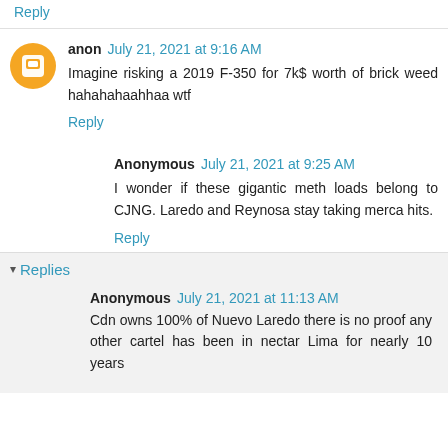Reply
anon July 21, 2021 at 9:16 AM
Imagine risking a 2019 F-350 for 7k$ worth of brick weed hahahahaahhaa wtf
Reply
Anonymous July 21, 2021 at 9:25 AM
I wonder if these gigantic meth loads belong to CJNG. Laredo and Reynosa stay taking merca hits.
Reply
Replies
Anonymous July 21, 2021 at 11:13 AM
Cdn owns 100% of Nuevo Laredo there is no proof any other cartel has been in nectar Lima for nearly 10 years